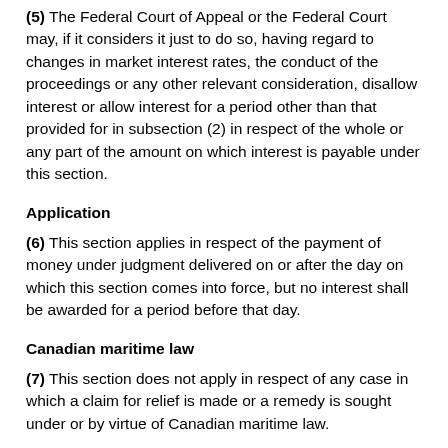(5) The Federal Court of Appeal or the Federal Court may, if it considers it just to do so, having regard to changes in market interest rates, the conduct of the proceedings or any other relevant consideration, disallow interest or allow interest for a period other than that provided for in subsection (2) in respect of the whole or any part of the amount on which interest is payable under this section.
Application
(6) This section applies in respect of the payment of money under judgment delivered on or after the day on which this section comes into force, but no interest shall be awarded for a period before that day.
Canadian maritime law
(7) This section does not apply in respect of any case in which a claim for relief is made or a remedy is sought under or by virtue of Canadian maritime law.
R.S., 1985, c. F-7, s. 36; 1990, c. 8, s. 8; 2002, c. 8, s. 36.